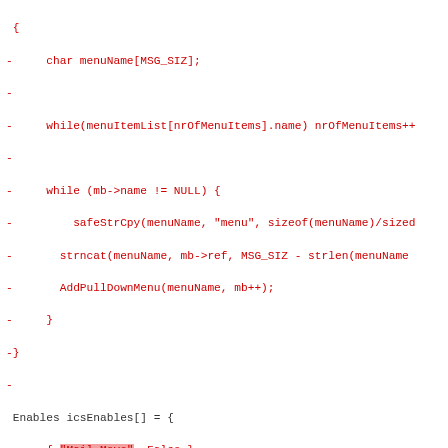diff code showing changes to menu/enables arrays in a source file